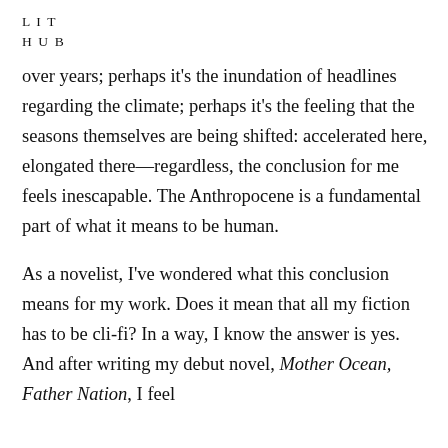L I T
H U B
over years; perhaps it's the inundation of headlines regarding the climate; perhaps it's the feeling that the seasons themselves are being shifted: accelerated here, elongated there—regardless, the conclusion for me feels inescapable. The Anthropocene is a fundamental part of what it means to be human.

As a novelist, I've wondered what this conclusion means for my work. Does it mean that all my fiction has to be cli-fi? In a way, I know the answer is yes. And after writing my debut novel, Mother Ocean, Father Nation, I feel